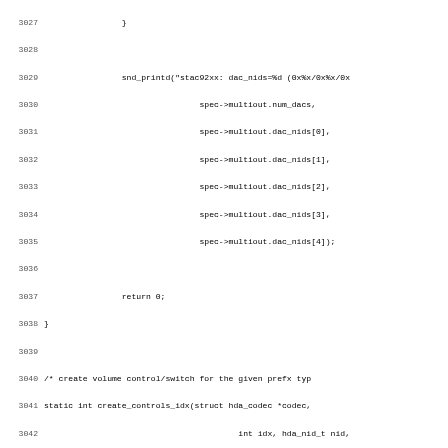Source code listing lines 3027-3059, C programming language, showing snd_printd function call, create_controls_idx function definition, and check_volume_offset conditional block.